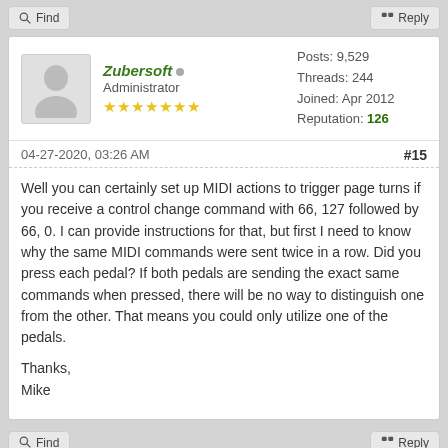Find | Reply
Zubersoft • Administrator ★★★★★★★ | Posts: 9,529 Threads: 244 Joined: Apr 2012 Reputation: 126
04-27-2020, 03:26 AM #15
Well you can certainly set up MIDI actions to trigger page turns if you receive a control change command with 66, 127 followed by 66, 0. I can provide instructions for that, but first I need to know why the same MIDI commands were sent twice in a row. Did you press each pedal? If both pedals are sending the exact same commands when pressed, there will be no way to distinguish one from the other. That means you could only utilize one of the pedals.

Thanks,
Mike
Find | Reply